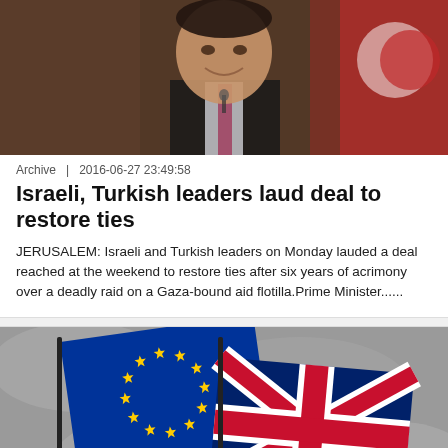[Figure (photo): Man in suit smiling, with Turkish flag in background]
Archive  |  2016-06-27 23:49:58
Israeli, Turkish leaders laud deal to restore ties
JERUSALEM: Israeli and Turkish leaders on Monday lauded a deal reached at the weekend to restore ties after six years of acrimony over a deadly raid on a Gaza-bound aid flotilla.Prime Minister......
[Figure (photo): EU flag and Union Jack (UK flag) side by side]